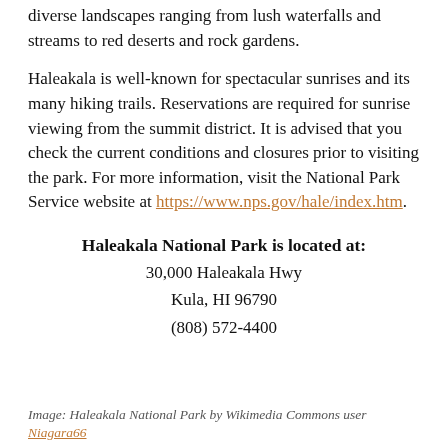diverse landscapes ranging from lush waterfalls and streams to red deserts and rock gardens.
Haleakala is well-known for spectacular sunrises and its many hiking trails. Reservations are required for sunrise viewing from the summit district. It is advised that you check the current conditions and closures prior to visiting the park. For more information, visit the National Park Service website at https://www.nps.gov/hale/index.htm.
Haleakala National Park is located at:
30,000 Haleakala Hwy
Kula, HI 96790
(808) 572-4400
Image: Haleakala National Park by Wikimedia Commons user Niagara66